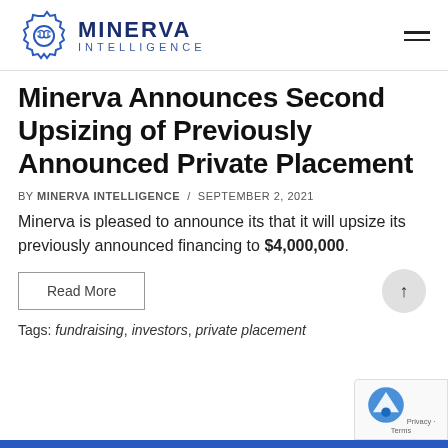Minerva Intelligence
Minerva Announces Second Upsizing of Previously Announced Private Placement
BY MINERVA INTELLIGENCE / SEPTEMBER 2, 2021
Minerva is pleased to announce its that it will upsize its previously announced financing to $4,000,000.
Read More
Tags: fundraising, investors, private placement